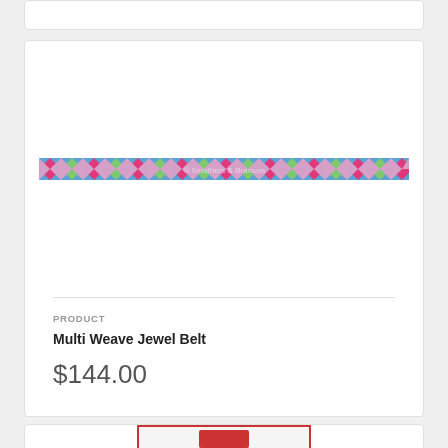[Figure (photo): Top portion of a product card, mostly white, partially visible at top of page]
[Figure (photo): A colorful argyle-patterned woven belt in pink, green, blue and magenta colors, displayed horizontally as a narrow strip]
PRODUCT
Multi Weave Jewel Belt
$144.00
[Figure (photo): Partially visible product card at bottom of page showing a needlepoint item with red border and checkered background with a red figure]